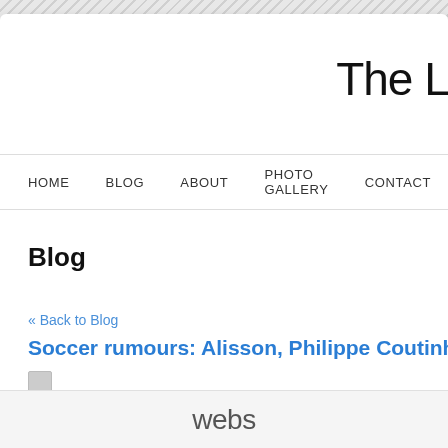The Li
HOME   BLOG   ABOUT   PHOTO GALLERY   CONTACT
Blog
« Back to Blog
Soccer rumours: Alisson, Philippe Coutinho, Virg
webs